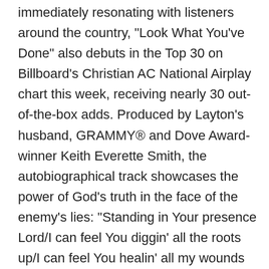immediately resonating with listeners around the country, "Look What You've Done" also debuts in the Top 30 on Billboard's Christian AC National Airplay chart this week, receiving nearly 30 out-of-the-box adds. Produced by Layton's husband, GRAMMY® and Dove Award-winner Keith Everette Smith, the autobiographical track showcases the power of God's truth in the face of the enemy's lies: "Standing in Your presence Lord/I can feel You diggin' all the roots up/I can feel You healin' all my wounds up/All I can say is hallelujah."